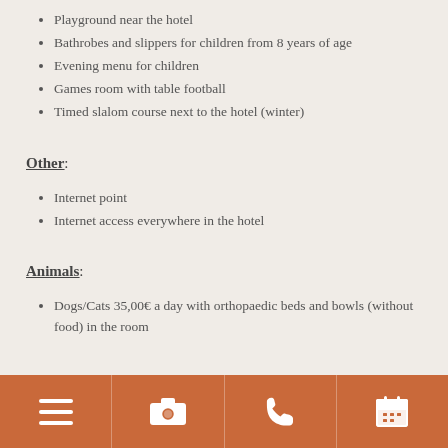Playground near the hotel
Bathrobes and slippers for children from 8 years of age
Evening menu for children
Games room with table football
Timed slalom course next to the hotel (winter)
Other:
Internet point
Internet access everywhere in the hotel
Animals:
Dogs/Cats 35,00€ a day with orthopaedic beds and bowls (without food) in the room
Navigation icons: menu, camera, phone, calendar